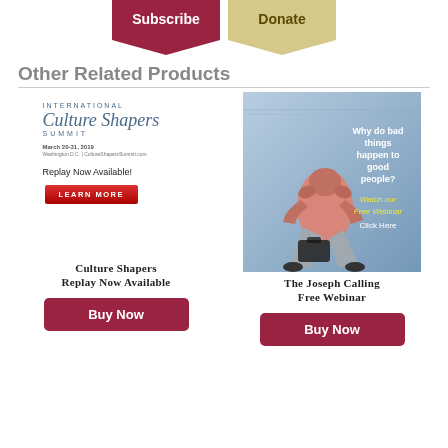[Figure (other): Subscribe button (dark red bookmark/ribbon shape) and Donate button (tan/gold bookmark/ribbon shape) at the top]
Other Related Products
[Figure (other): International Culture Shapers Summit promotional card showing logo, March 20-31, 2019, Washington D.C., CultureShapersSummit.com, Replay Now Available!, LEARN MORE button]
[Figure (other): The Joseph Calling Free Webinar promotional image showing a man with head in hands, text: Why do bad things happen to good people? Watch our Free Webinar Click Here]
Culture Shapers Replay Now Available
The Joseph Calling Free Webinar
[Figure (other): Buy Now button (dark red)]
[Figure (other): Buy Now button (dark red)]